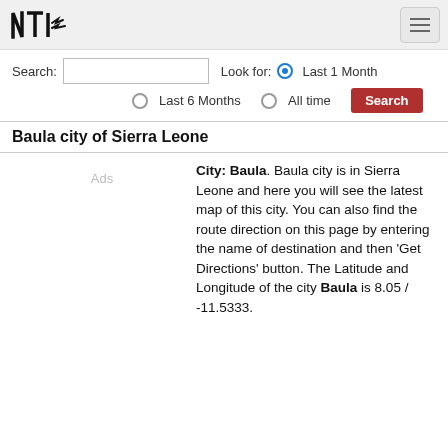[Figure (logo): NTI logo in black stylized text with arrows]
Search: [input] Look for: (•) Last 1 Month
( ) Last 6 Months  ( ) All time  [Search]
Baula city of Sierra Leone
Ads
City: Baula. Baula city is in Sierra Leone and here you will see the latest map of this city. You can also find the route direction on this page by entering the name of destination and then 'Get Directions' button. The Latitude and Longitude of the city Baula is 8.05 / -11.5333.